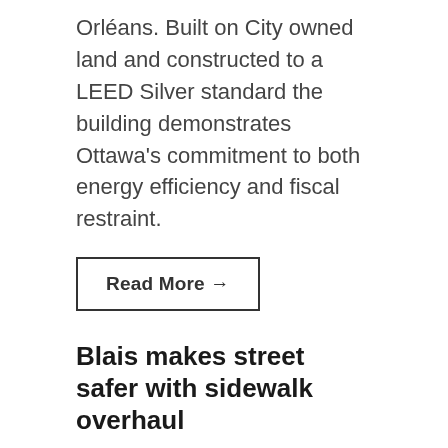Orléans. Built on City owned land and constructed to a LEED Silver standard the building demonstrates Ottawa's commitment to both energy efficiency and fiscal restraint.
Read More →
Blais makes street safer with sidewalk overhaul
FEBRUARY 27, 2017
Councillor Stephen Blais is proud to announce the City is making a significant investment in sidewalk infrastructure in Fallingbrook.